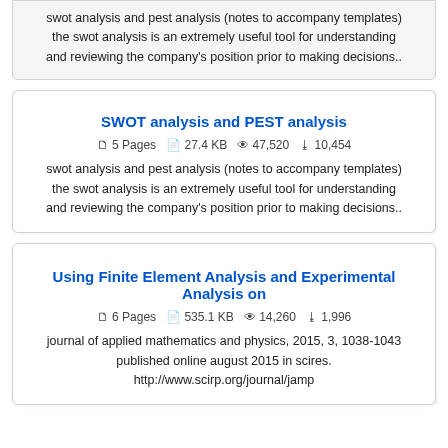swot analysis and pest analysis (notes to accompany templates) the swot analysis is an extremely useful tool for understanding and reviewing the company's position prior to making decisions..
SWOT analysis and PEST analysis
5 Pages  27.4 KB  47,520  10,454
swot analysis and pest analysis (notes to accompany templates) the swot analysis is an extremely useful tool for understanding and reviewing the company's position prior to making decisions..
Using Finite Element Analysis and Experimental Analysis on
6 Pages  535.1 KB  14,260  1,996
journal of applied mathematics and physics, 2015, 3, 1038-1043 published online august 2015 in scires. http://www.scirp.org/journal/jamp